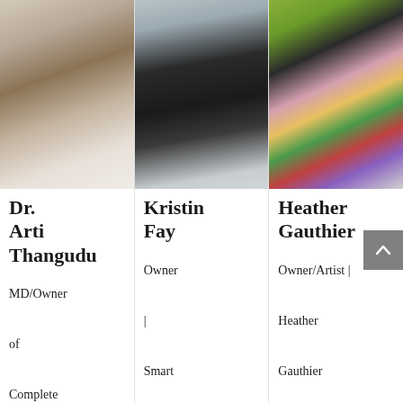[Figure (photo): Headshot of Dr. Arti Thangudu, a woman with long dark hair wearing a white coat, smiling]
Dr. Arti Thangudu
MD/Owner of Complete Medicine
[Figure (photo): Full body photo of Kristin Fay in black workout clothes and sneakers, side profile]
Kristin Fay
Owner | Smart Barre San
[Figure (photo): Photo of Heather Gauthier, a blonde woman in black top and colorful patterned leggings, crouching outdoors]
Heather Gauthier
Owner/Artist | Heather Gauthier Art